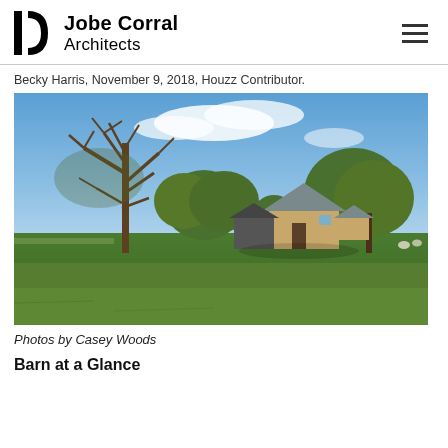Jobe Corral Architects
Becky Harris, November 9, 2018, Houzz Contributor.
[Figure (photo): Exterior landscape photo showing a rural Texas property with large oak trees, green grass field, and a barn/house structure with a gabled roof under a blue sky with clouds.]
Photos by Casey Woods
Barn at a Glance